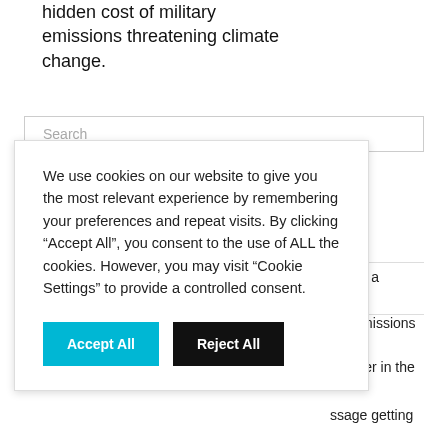hidden cost of military emissions threatening climate change.
[Figure (screenshot): Search bar input field with placeholder text 'Search']
We use cookies on our website to give you the most relevant experience by remembering your preferences and repeat visits. By clicking “Accept All”, you consent to the use of ALL the cookies. However, you may visit "Cookie Settings" to provide a controlled consent.
Accept All
Reject All
oritise a
ary emissions
chapter in the
ssage getting